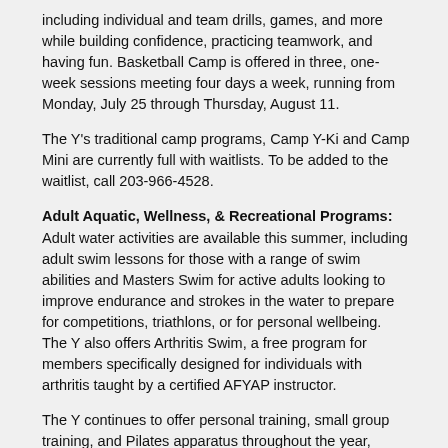including individual and team drills, games, and more while building confidence, practicing teamwork, and having fun. Basketball Camp is offered in three, one-week sessions meeting four days a week, running from Monday, July 25 through Thursday, August 11.
The Y's traditional camp programs, Camp Y-Ki and Camp Mini are currently full with waitlists. To be added to the waitlist, call 203-966-4528.
Adult Aquatic, Wellness, & Recreational Programs:
Adult water activities are available this summer, including adult swim lessons for those with a range of swim abilities and Masters Swim for active adults looking to improve endurance and strokes in the water to prepare for competitions, triathlons, or for personal wellbeing. The Y also offers Arthritis Swim, a free program for members specifically designed for individuals with arthritis taught by a certified AFYAP instructor.
The Y continues to offer personal training, small group training, and Pilates apparatus throughout the year, providing members with the opportunity to either begin or strengthen their fitness routine with certified Personal Trainers in a private or small-group environment. Small group training classes offered this summer include strength circuit training, in addition choosing your own training type, including bootcamp, barre, Sprint 8® HIIT cardio, TRX, pilates, indoor cycling, total body conditioning, yoga, and more.
A variety of group fitness classes continue to be offered free to members this summer including yoga, cycling, conditioning, core, cardio, Pilates, barre, bootcamp, aquatic classes, and more. Adult sports include adult pick-up